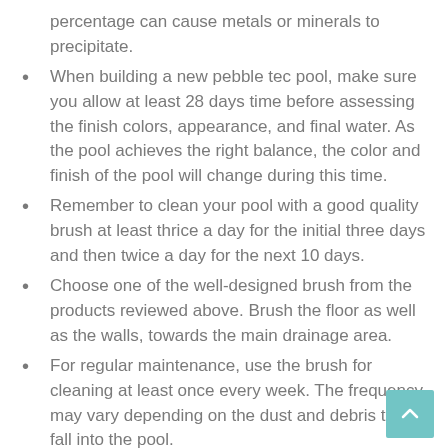percentage can cause metals or minerals to precipitate.
When building a new pebble tec pool, make sure you allow at least 28 days time before assessing the finish colors, appearance, and final water. As the pool achieves the right balance, the color and finish of the pool will change during this time.
Remember to clean your pool with a good quality brush at least thrice a day for the initial three days and then twice a day for the next 10 days.
Choose one of the well-designed brush from the products reviewed above. Brush the floor as well as the walls, towards the main drainage area.
For regular maintenance, use the brush for cleaning at least once every week. The frequency may vary depending on the dust and debris that fall into the pool.
After a new installation, it is normal for some of